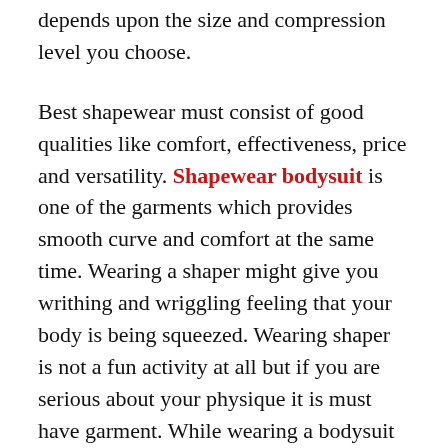depends upon the size and compression level you choose.
Best shapewear must consist of good qualities like comfort, effectiveness, price and versatility. Shapewear bodysuit is one of the garments which provides smooth curve and comfort at the same time. Wearing a shaper might give you writhing and wriggling feeling that your body is being squeezed. Wearing shaper is not a fun activity at all but if you are serious about your physique it is must have garment. While wearing a bodysuit you feel supported from the right places you feel like second skin.
If you need extra confidence wearing a shaper is always considered full decision. If you are a beginner